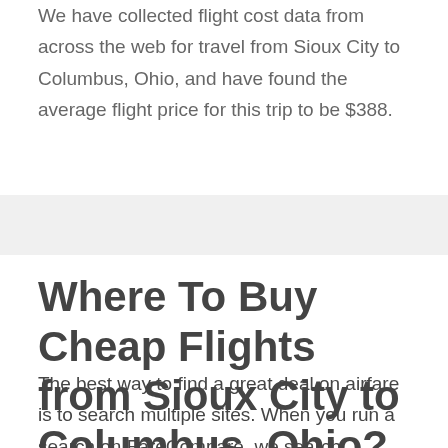We have collected flight cost data from across the web for travel from Sioux City to Columbus, Ohio, and have found the average flight price for this trip to be $388.
Where To Buy Cheap Flights from Sioux City to Columbus, Ohio?
The best way to find a great deal on airfare is to search multiple sites. When you run a search on FareCompare, we search multiple sites and fare sources all at once so you don't have to - which is why